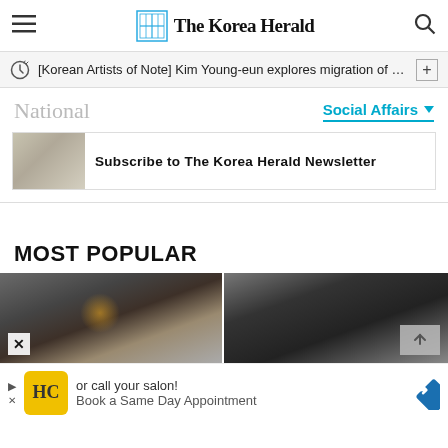The Korea Herald
[Korean Artists of Note] Kim Young-eun explores migration of sou…
National
Social Affairs
Subscribe to The Korea Herald Newsletter
MOST POPULAR
[Figure (photo): Two side-by-side photos in a Most Popular section]
[Figure (photo): Advertisement banner with HC logo, or call your salon!, Book a Same Day Appointment]